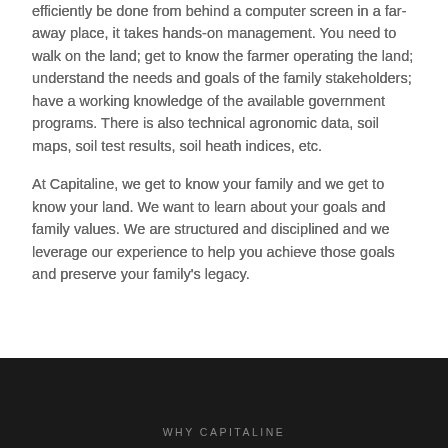efficiently be done from behind a computer screen in a far-away place, it takes hands-on management. You need to walk on the land; get to know the farmer operating the land; understand the needs and goals of the family stakeholders; have a working knowledge of the available government programs. There is also technical agronomic data, soil maps, soil test results, soil heath indices, etc.
At Capitaline, we get to know your family and we get to know your land. We want to learn about your goals and family values. We are structured and disciplined and we leverage our experience to help you achieve those goals and preserve your family's legacy.
WHY CAPITALINE